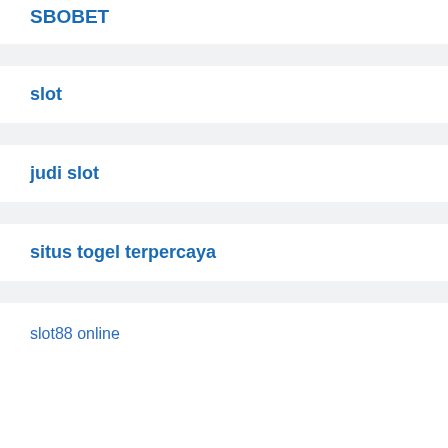SBOBET
slot
judi slot
situs togel terpercaya
slot88 online